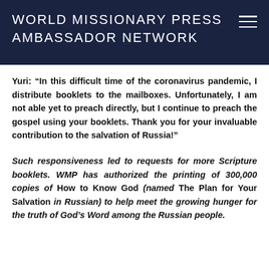WORLD MISSIONARY PRESS AMBASSADOR NETWORK
Yuri: “In this difficult time of the coronavirus pandemic, I distribute booklets to the mailboxes. Unfortunately, I am not able yet to preach directly, but I continue to preach the gospel using your booklets. Thank you for your invaluable contribution to the salvation of Russia!”
Such responsiveness led to requests for more Scripture booklets. WMP has authorized the printing of 300,000 copies of How to Know God (named The Plan for Your Salvation in Russian) to help meet the growing hunger for the truth of God’s Word among the Russian people.